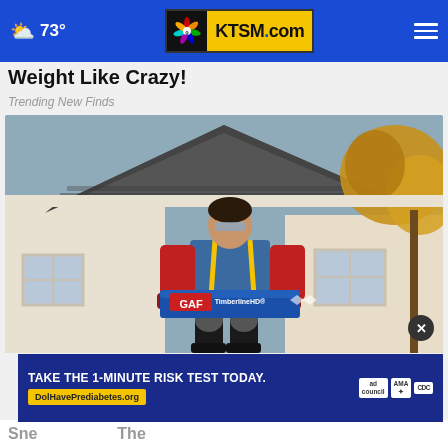73° KTSM.com
Weight Like Crazy!
Trending New Finds
[Figure (photo): A roofer carrying a GAF TimberlineHD shingle package in front of a house with autumn trees]
Sne... The...
[Figure (infographic): Advertisement banner: TAKE THE 1-MINUTE RISK TEST TODAY. DolHavePrediabetes.org with ad council, AMA and CDC logos]